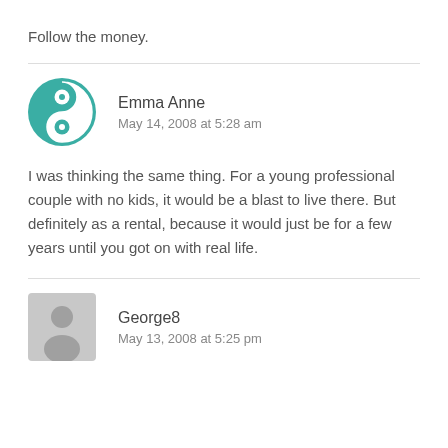Follow the money.
Emma Anne
May 14, 2008 at 5:28 am
I was thinking the same thing. For a young professional couple with no kids, it would be a blast to live there. But definitely as a rental, because it would just be for a few years until you got on with real life.
George8
May 13, 2008 at 5:25 pm